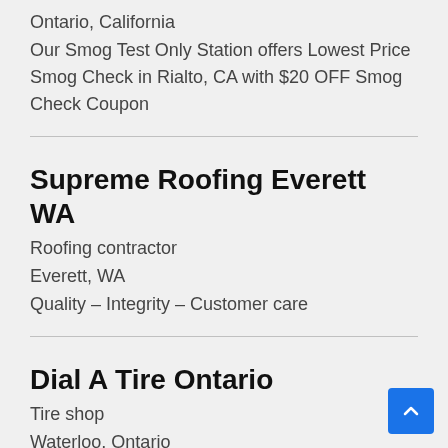Ontario, California
Our Smog Test Only Station offers Lowest Price Smog Check in Rialto, CA with $20 OFF Smog Check Coupon
Supreme Roofing Everett WA
Roofing contractor
Everett, WA
Quality – Integrity – Customer care
Dial A Tire Ontario
Tire shop
Waterloo, Ontario
Welcome to Dial A Tire